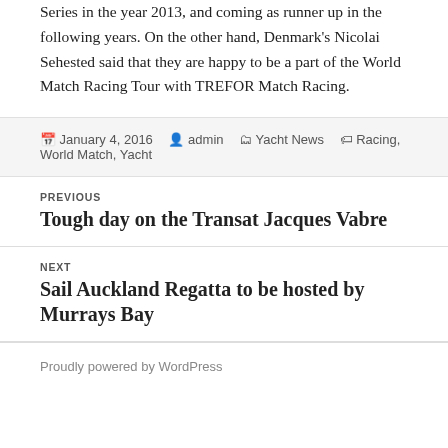Series in the year 2013, and coming as runner up in the following years. On the other hand, Denmark's Nicolai Sehested said that they are happy to be a part of the World Match Racing Tour with TREFOR Match Racing.
January 4, 2016  admin  Yacht News  Racing, World Match, Yacht
PREVIOUS
Tough day on the Transat Jacques Vabre
NEXT
Sail Auckland Regatta to be hosted by Murrays Bay
Proudly powered by WordPress